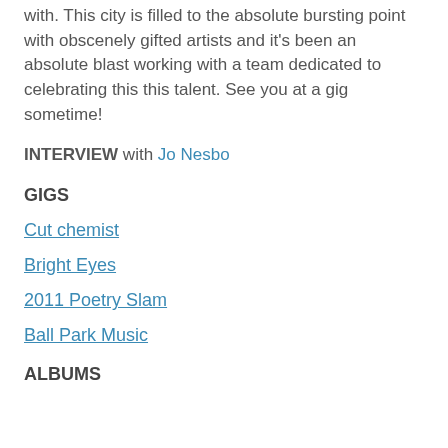with. This city is filled to the absolute bursting point with obscenely gifted artists and it's been an absolute blast working with a team dedicated to celebrating this this talent. See you at a gig sometime!
INTERVIEW with Jo Nesbo
GIGS
Cut chemist
Bright Eyes
2011 Poetry Slam
Ball Park Music
ALBUMS